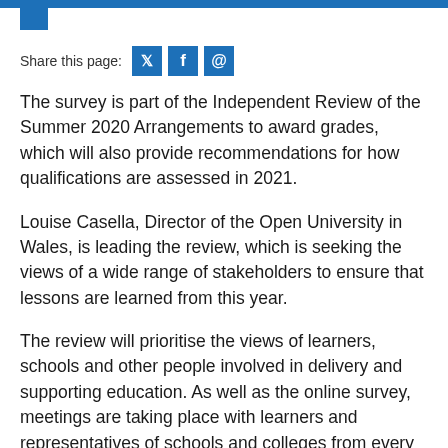Share this page:
The survey is part of the Independent Review of the Summer 2020 Arrangements to award grades, which will also provide recommendations for how qualifications are assessed in 2021.
Louise Casella, Director of the Open University in Wales, is leading the review, which is seeking the views of a wide range of stakeholders to ensure that lessons are learned from this year.
The review will prioritise the views of learners, schools and other people involved in delivery and supporting education. As well as the online survey, meetings are taking place with learners and representatives of schools and colleges from every region in Wales, including governors.